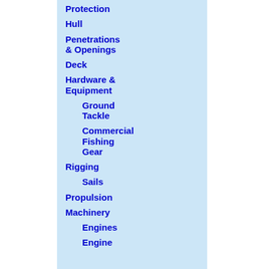Protection
Hull
Penetrations & Openings
Deck
Hardware & Equipment
Ground Tackle
Commercial Fishing Gear
Rigging
Sails
Propulsion
Machinery
Engines
Engine